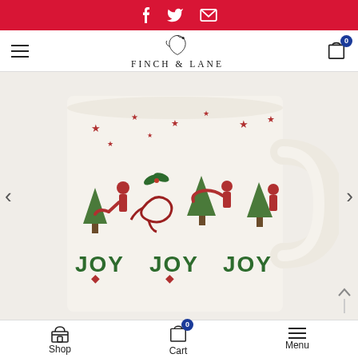Social share bar with Facebook, Twitter, Email icons
Finch & Lane — site header with hamburger menu, logo, and cart (0 items)
[Figure (photo): Close-up photo of a cream ceramic mug decorated with a Christmas design featuring red figures playing instruments, green JOY text repeating around the base, red stars, and green holly. The mug has a handle visible on the right side.]
Shop | Cart (0) | Menu — bottom navigation bar